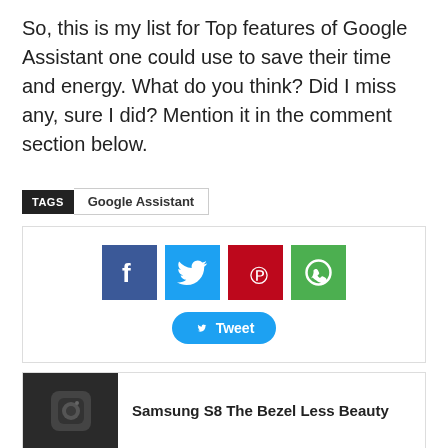So, this is my list for Top features of Google Assistant one could use to save their time and energy. What do you think? Did I miss any, sure I did? Mention it in the comment section below.
TAGS  Google Assistant
[Figure (infographic): Social sharing buttons: Facebook (blue), Twitter (light blue), Pinterest (red), WhatsApp (green), and a Tweet button below]
[Figure (photo): Samsung S8 phone camera close-up, dark background]
Samsung S8 The Bezel Less Beauty